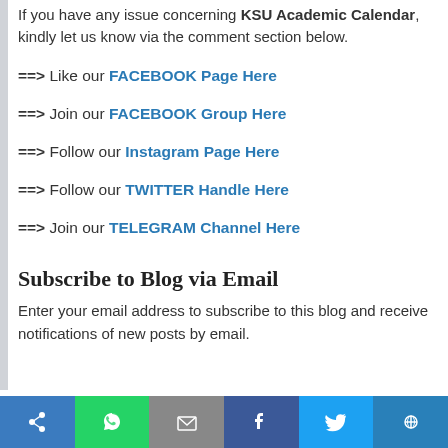If you have any issue concerning KSU Academic Calendar, kindly let us know via the comment section below.
==> Like our FACEBOOK Page Here
==> Join our FACEBOOK Group Here
==> Follow our Instagram Page Here
==> Follow our TWITTER Handle Here
==> Join our TELEGRAM Channel Here
Subscribe to Blog via Email
Enter your email address to subscribe to this blog and receive notifications of new posts by email.
[Figure (other): Social media share buttons bar at the bottom: icons for share, WhatsApp, email/share, Facebook, Twitter, and another blue platform]